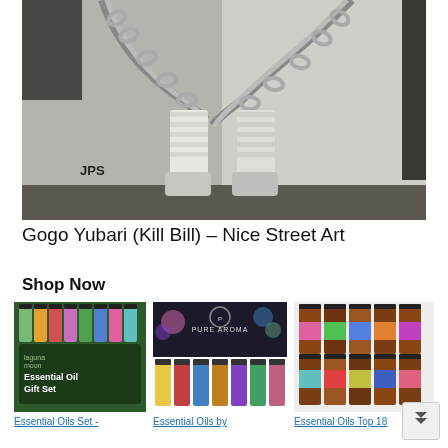[Figure (photo): Street art photo showing legs wearing white socks and sneakers, with a large metal chain, artwork signed JPS. Background is a concrete wall corner. Gogo Yubari Kill Bill themed street art.]
Gogo Yubari (Kill Bill) – Nice Street Art
Shop Now
[Figure (photo): Product photo of Laguna Moon Essential Oil Gift Set - green and dark themed packaging with multiple small bottles.]
Essential Oils Set -
[Figure (photo): Product photo of Pure Aroma essential oils set with dark box packaging and multiple small bottles arranged below it.]
Essential Oils by
[Figure (photo): Product photo of Essential Oils Top 18 set with multiple amber bottles arranged in pyramid formation.]
Essential Oils Top 18